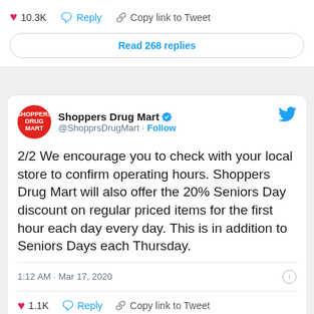[Figure (screenshot): Twitter/X social media screenshot showing two tweet interaction areas. Top area shows 10.3K likes, Reply, Copy link to Tweet actions, and a 'Read 268 replies' button. Bottom area shows a Shoppers Drug Mart tweet from @ShopprsDrugMart dated 1:12 AM Mar 17, 2020, with tweet text about seniors discount, 1.1K likes, Reply, and Copy link to Tweet actions.]